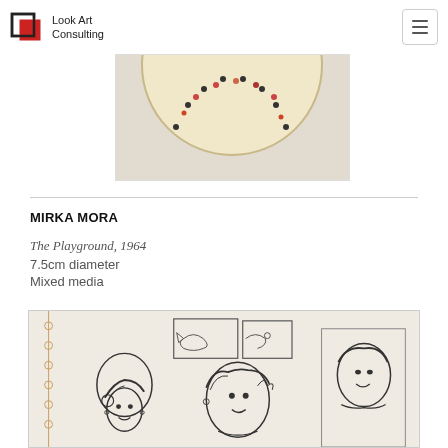Look Art Consulting
[Figure (photo): Partial view of a circular mixed-media artwork by Mirka Mora, showing a decorative plate-like form with colorful dots and floral elements on a cream/beige background]
MIRKA MORA
The Playground, 1964
7.5cm diameter
Mixed media
[Figure (photo): Pencil sketch drawing showing two women and partial figures in a scene, with framed pictures on the wall behind them. The figures have expressive faces and curly/styled hair, drawn in a naive art style typical of Mirka Mora.]